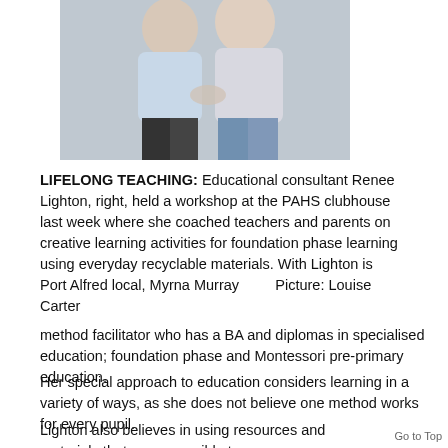[Figure (photo): Two women standing together, photo cropped at top of page]
LIFELONG TEACHING: Educational consultant Renee Lighton, right, held a workshop at the PAHS clubhouse last week where she coached teachers and parents on creative learning activities for foundation phase learning using everyday recyclable materials. With Lighton is Port Alfred local, Myrna Murray        Picture: Louise Carter
method facilitator who has a BA and diplomas in specialised education; foundation phase and Montessori pre-primary education.
Her special approach to education considers learning in a variety of ways, as she does not believe one method works for every pupil.
Lighton also believes in using resources and materials that are accessible to everyone, inexpensive and recyclable. There is even a lesson in her choice of teaching materials.
Go to Top